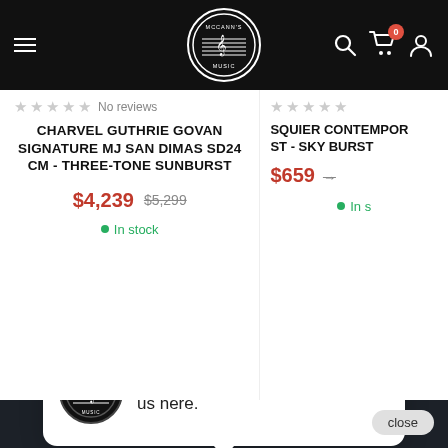[Figure (screenshot): McCann's Music website header with hamburger menu, logo, search icon, cart with 0 badge, and user icon on black background]
No reviews
CHARVEL GUTHRIE GOVAN SIGNATURE MJ SAN DIMAS SD24 CM - THREE-TONE SUNBURST
$4,239  $5,299  ● In stock
SQUIER CONTEMPOR... ST - SKY BURST...
$659  ● In s
close
Hi there, have a question? Text us here.
MCCANN'S MUSIC +
YOUR STORE +
YOUR COMMUNITY +
N TOUCH WITH US +